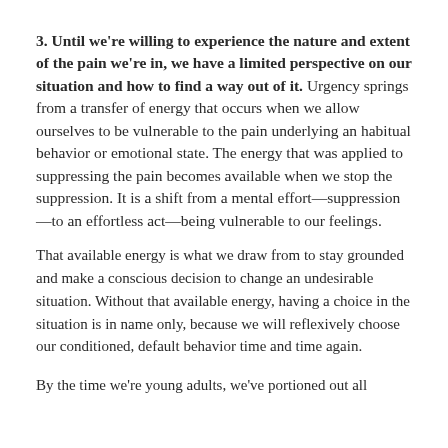3. Until we're willing to experience the nature and extent of the pain we're in, we have a limited perspective on our situation and how to find a way out of it. Urgency springs from a transfer of energy that occurs when we allow ourselves to be vulnerable to the pain underlying an habitual behavior or emotional state. The energy that was applied to suppressing the pain becomes available when we stop the suppression. It is a shift from a mental effort—suppression—to an effortless act—being vulnerable to our feelings.
That available energy is what we draw from to stay grounded and make a conscious decision to change an undesirable situation. Without that available energy, having a choice in the situation is in name only, because we will reflexively choose our conditioned, default behavior time and time again.
By the time we're young adults, we've portioned out all